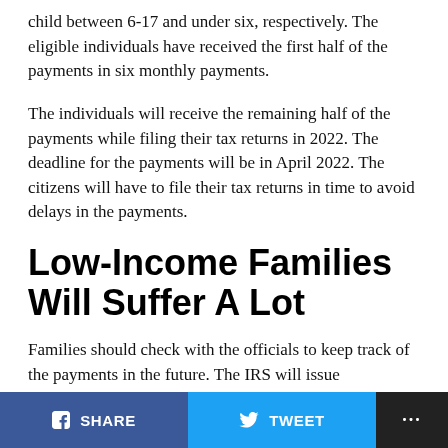child between 6-17 and under six, respectively. The eligible individuals have received the first half of the payments in six monthly payments.
The individuals will receive the remaining half of the payments while filing their tax returns in 2022. The deadline for the payments will be in April 2022. The citizens will have to file their tax returns in time to avoid delays in the payments.
Low-Income Families Will Suffer A Lot
Families should check with the officials to keep track of the payments in the future. The IRS will issue notifications regarding the dates of the tax returns. The
SHARE   TWEET   ...